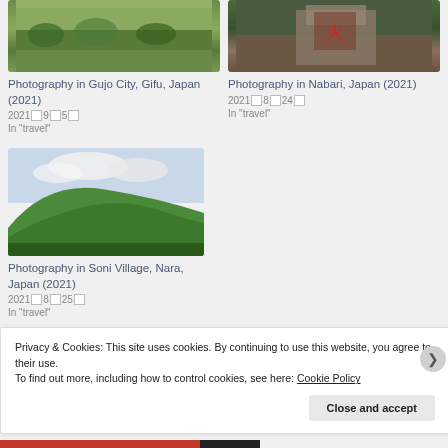[Figure (photo): Landscape photo showing green fields and trees in Gujo City, Gifu, Japan]
Photography in Gujo City, Gifu, Japan (2021)
2021年9月5日
In "travel"
[Figure (photo): Street/building photo with red Chinese/Japanese characters in Nabari, Japan]
Photography in Nabari, Japan (2021)
2021年8月24日
In "travel"
[Figure (photo): Green hill under cloudy sky in Soni Village, Nara, Japan]
Photography in Soni Village, Nara, Japan (2021)
2021年8月25日
In "travel"
Privacy & Cookies: This site uses cookies. By continuing to use this website, you agree to their use.
To find out more, including how to control cookies, see here: Cookie Policy